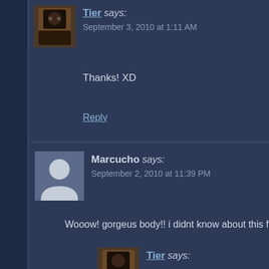Tier says: September 3, 2010 at 1:11 AM
Thanks! XD
Reply
Marcucho says: September 2, 2010 at 11:39 PM
Wooow! gorgeus body!! i didnt know about this figure bu
The post made me laugh very much jajajaja
Excellent figure!!
Reply
Tier says: September 3, 2010 at 1:12 AM